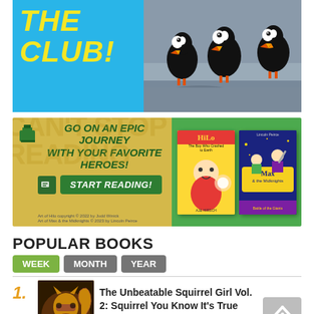[Figure (illustration): Banner with yellow text 'THE CLUB!' on blue background, with puffin birds on the right side]
[Figure (illustration): Advertisement banner: 'GO ON AN EPIC JOURNEY WITH YOUR FAVORITE HEROES! START READING!' with book covers for Hilo and Max & the Midknights on green/yellow background]
POPULAR BOOKS
WEEK
MONTH
YEAR
1. The Unbeatable Squirrel Girl Vol. 2: Squirrel You Know It's True